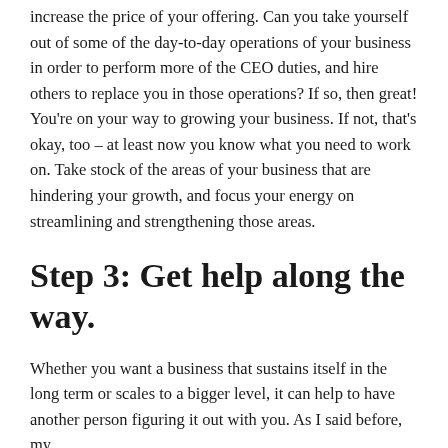increase the price of your offering. Can you take yourself out of some of the day-to-day operations of your business in order to perform more of the CEO duties, and hire others to replace you in those operations? If so, then great! You're on your way to growing your business. If not, that's okay, too – at least now you know what you need to work on. Take stock of the areas of your business that are hindering your growth, and focus your energy on streamlining and strengthening those areas.
Step 3: Get help along the way.
Whether you want a business that sustains itself in the long term or scales to a bigger level, it can help to have another person figuring it out with you. As I said before, my